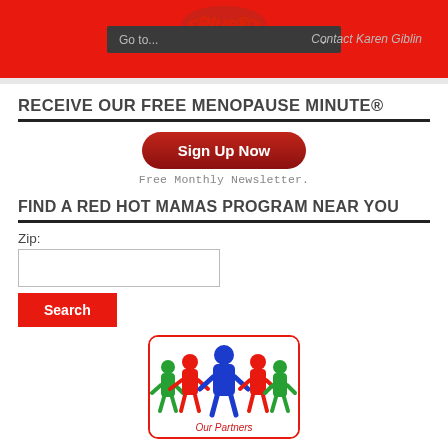Go to... | Contact Karen Giblin
RECEIVE OUR FREE MENOPAUSE MINUTE®
[Figure (other): Sign Up Now button - red pill-shaped button]
Free Monthly Newsletter.
FIND A RED HOT MAMAS PROGRAM NEAR YOU
Zip:
[Figure (other): Zip code input text field]
[Figure (other): Search button - red rectangle]
[Figure (illustration): Our Partners illustration showing colorful paper chain figures (red, green, blue) holding hands, with 'Our Partners' italic text at bottom, inside a red rounded border box]